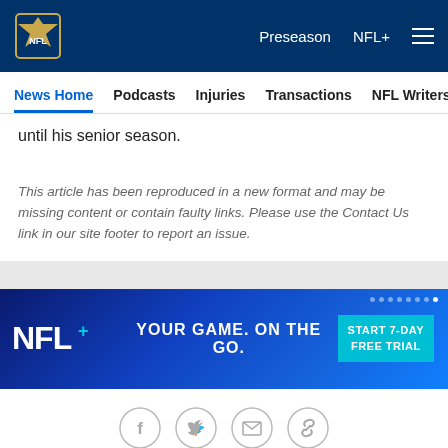NFL - Preseason NFL+
News Home | Podcasts | Injuries | Transactions | NFL Writers | Se
until his senior season.
This article has been reproduced in a new format and may be missing content or contain faulty links. Please use the Contact Us link in our site footer to report an issue.
[Figure (illustration): NFL+ advertisement banner with text YOUR GAME. ON THE GO. and a START 7-DAY FREE TRIAL button]
[Figure (other): Social media share icons: Facebook, Twitter, Email, Link]